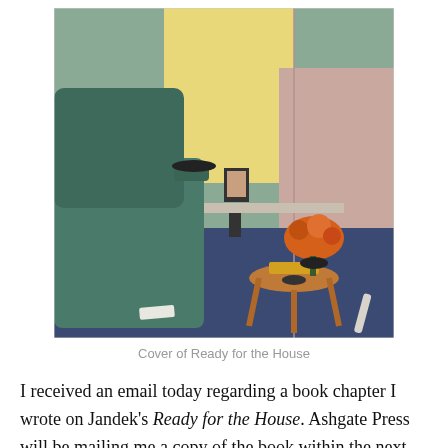[Figure (photo): Photograph of a room interior: a green armchair on the left, a wooden side table with an orange flower arrangement and other items, a ledge or shelf with a framed photo, against walls painted mint green and pink with a yellow section, and a blue carpet floor. Album cover art for 'Ready for the House' by Jandek.]
Cover of Ready for the House
I received an email today regarding a book chapter I wrote on Jandek's Ready for the House. Ashgate Press will be mailing me a copy of the book within the next month or so.